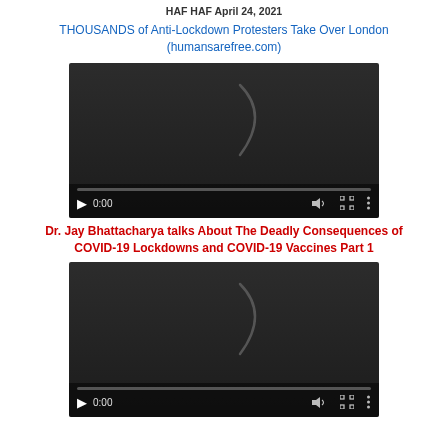HAF HAF April 24, 2021
THOUSANDS of Anti-Lockdown Protesters Take Over London (humansarefree.com)
[Figure (screenshot): Embedded video player with dark background, arc/spinner graphic, play button, 0:00 timestamp, volume, fullscreen, and menu icons, and a progress bar at the bottom.]
Dr. Jay Bhattacharya talks About The Deadly Consequences of COVID-19 Lockdowns and COVID-19 Vaccines Part 1
[Figure (screenshot): Second embedded video player with dark background, arc/spinner graphic, play button, 0:00 timestamp, volume, fullscreen, and menu icons, and a progress bar at the bottom.]